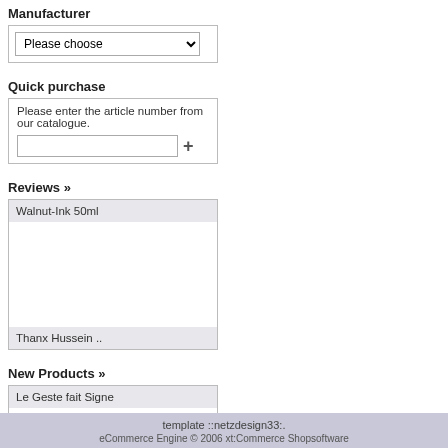Manufacturer
Please choose
Quick purchase
Please enter the article number from our catalogue.
Reviews »
Walnut-Ink 50ml
Thanx Hussein ..
New Products »
Le Geste fait Signe
26,00 EUR excl.Shipping costs
template ::netzdesign33:.
eCommerce Engine © 2006 xt:Commerce Shopsoftware